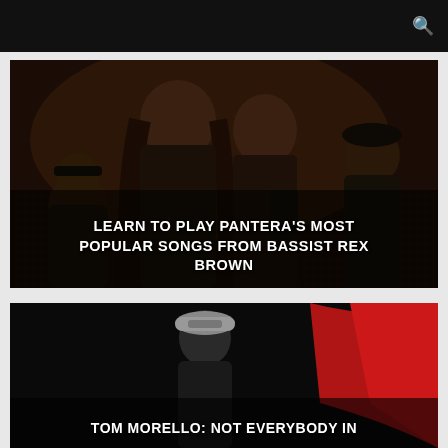[Figure (photo): Band photo of Pantera members in dark, moody black and white / sepia tones. Four band members visible including long-haired and shorter-haired individuals in dark clothing.]
LEARN TO PLAY PANTERA'S MOST POPULAR SONGS FROM BASSIST REX BROWN
[Figure (photo): Photo of Tom Morello performing, wearing a grey cap that says UNITE, with a red background element visible.]
TOM MORELLO: NOT EVERYBODY IN